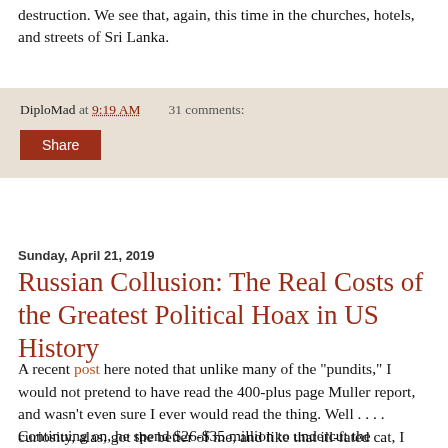destruction. We see that, again, this time in the churches, hotels, and streets of Sri Lanka.
DiploMad at 9:19 AM    31 comments:
Share
Sunday, April 21, 2019
Russian Collusion: The Real Costs of the Greatest Political Hoax in US History
A recent post here noted that unlike many of the "pundits," I would not pretend to have read the 400-plus page Muller report, and wasn't even sure I ever would read the thing. Well . . . . curiosity, alas, got the better of me, and like that ill-fated cat, I began to churn through the Great Tome. I have not gotten too far, and, frankly, remain uncertain about finishing it. Skimming pages, jumping around within the text, and . . .  finding it a whole lotta crapola.
Continuing on, he spend $26-$35 million to undercut the